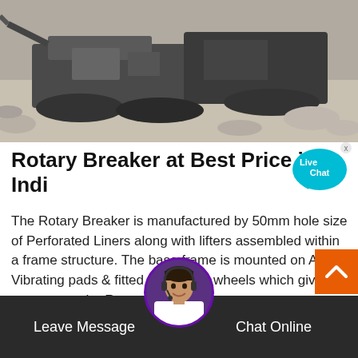[Figure (photo): Black and white photograph of a large industrial rotary breaker / crushing machine on a job site with rocky terrain]
Rotary Breaker at Best Price in India
The Rotary Breaker is manufactured by 50mm hole size of Perforated Liners along with lifters assembled within a frame structure. The base frame is mounted on Anti Vibrating pads & fitted with thrust wheels which gives supports to the Rotary …
[Figure (illustration): Live Chat speech bubble button with cyan background]
[Figure (photo): Customer service agent with headset circular avatar photo at bottom center]
Leave Message
Chat Online